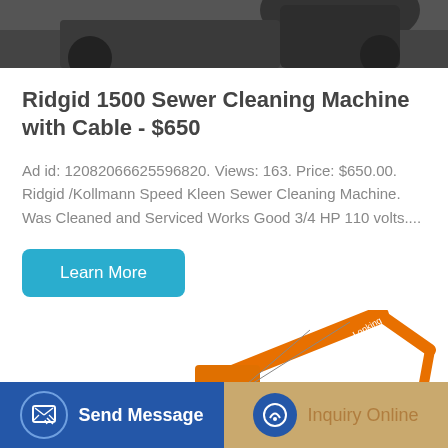[Figure (photo): Partial view of heavy machinery (excavator or similar equipment) visible at the top of the page, dark/gray tones.]
Ridgid 1500 Sewer Cleaning Machine with Cable - $650
Ad id: 12082066625596820. Views: 163. Price: $650.00. Ridgid /Kollmann Speed Kleen Sewer Cleaning Machine. Was Cleaned and Serviced Works Good 3/4 HP 110 volts....
[Figure (photo): Orange excavator/construction equipment (Lonking brand) shown in the lower portion of the page.]
Learn More
Send Message
Inquiry Online